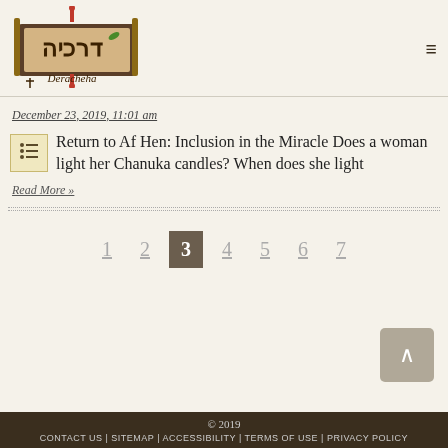[Figure (logo): Deracheha website logo with Hebrew text and scroll illustration]
December 23, 2019, 11:01 am
Return to Af Hen: Inclusion in the Miracle Does a woman light her Chanuka candles? When does she light
Read More »
© 2019
CONTACT US | SITEMAP | ACCESSIBILITY | TERMS OF USE | PRIVACY POLICY